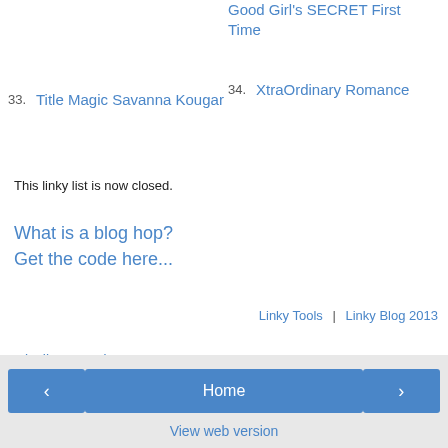Good Girl's SECRET First Time
33. Title Magic Savanna Kougar
34. XtraOrdinary Romance
This linky list is now closed.
What is a blog hop?
Get the code here...
Linky Tools  |  Linky Blog 2013
Giselle Renarde at 10:15 PM
Share
< Home > View web version